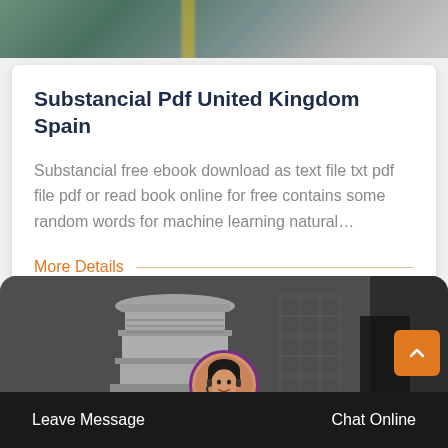[Figure (photo): Top portion of a manufacturing/industrial machinery photo with yellow and grey metal components]
Substancial Pdf United Kingdom Spain
Substancial free ebook download as text file txt pdf file pdf or read book online for free contains some random words for machine learning natural…
More Details
[Figure (photo): Photo of a large white industrial cone crusher machine in a factory/warehouse setting, with a customer service chat interface overlay showing a female agent with headset]
Leave Message    Chat Online